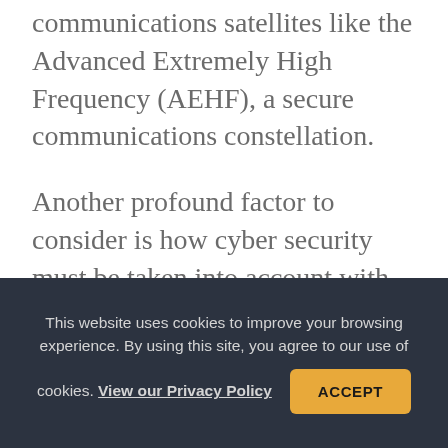communications satellites like the Advanced Extremely High Frequency (AEHF), a secure communications constellation.
Another profound factor to consider is how cyber security must be taken into account with any NC3 modernization effort. Much of the current NC3 system predates the internet era, when internet-protocol (IP) packet transmission became the dominant method of data communication.
This website uses cookies to improve your browsing experience. By using this site, you agree to our use of cookies. View our Privacy Policy ACCEPT